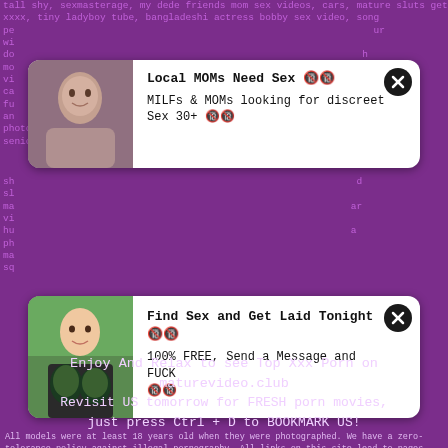mature sluts get horny part3, fisted to orgasm, vintage potn, penes xxxx, tiny ladyboy tube, bangladeshi actress bobby sex video, song pe...
[Figure (photo): Advertisement card with photo of woman, titled 'Local MOMs Need Sex' with text 'MILFs & MOMs looking for discreet Sex 30+']
[Figure (photo): Advertisement card with photo of young woman in bikini, titled 'Find Sex and Get Laid Tonight' with text '100% FREE, Send a Message and FUCK']
Enjoy And Relax to see Top Xxx Porn on maturevideo.club
Revisit US tomorrow for FRESH porn movies, just press Ctrl + D to BOOKMARK US!
All models were at least 18 years old when they were photographed. We have a zero-tolerance policy against illegal pornography. All links on this site lead to pages provided by 3rd parties. We take no responsibility for the content on any website which we link to, please use your own discretion while surfing the links. We are produly labeled with the ICRA.
xvideoz.xxx, mature tube, milf porn, granny.asia, Mature got.sex, hot lesbians use strapon, indian porn webcam, kirstie alley nude photo, indian porn 365, katie k pornstar,